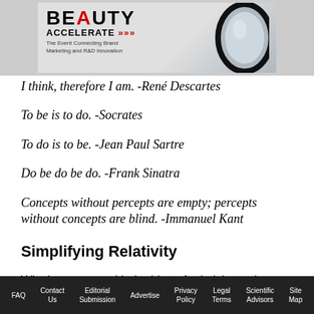[Figure (logo): Beauty Accelerate event banner with logo text 'BEAUTY ACCELERATE' with arrows, tagline 'The Event Connecting Brand Marketing and R&D Innovation', and a lens/circle graphic on the right]
I think, therefore I am.  -René Descartes
To be is to do.  -Socrates
To do is to be.  -Jean Paul Sartre
Do be do be do.  -Frank Sinatra
Concepts without percepts are empty; percepts without concepts are blind.  -Immanuel Kant
Simplifying Relativity
Wiechers starts with the idea of relativity and a
FAQ   Contact Us   Editorial Submission   Advertise   Privacy Policy   Legal Terms   Scientific Advisors   Site Map